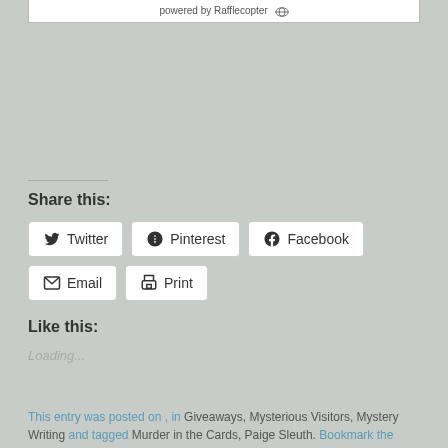powered by Rafflecopter
Share this:
Twitter  Pinterest  Facebook  Email  Print
Like this:
Loading...
This entry was posted on , in Giveaways, Mysterious Visitors, Mystery Writing and tagged Murder in the Cards, Paige Sleuth. Bookmark the